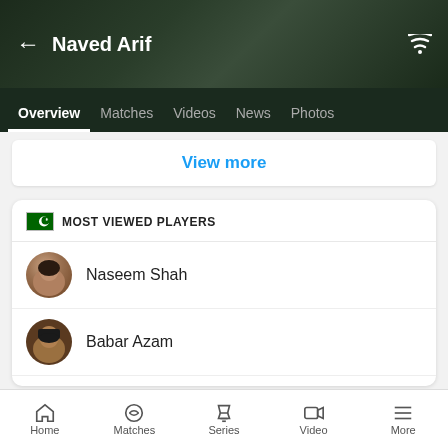Naved Arif
Overview  Matches  Videos  News  Photos
View more
MOST VIEWED PLAYERS
Naseem Shah
Babar Azam
Shahnawaz Dahani
Mohammad Rizwan
Mohammad Nawaz
Home  Matches  Series  Video  More